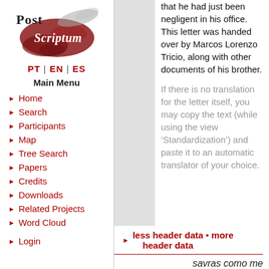[Figure (logo): Post Scriptum logo with handwritten script and red ink blot graphic]
PT | EN | ES
Main Menu
Home
Search
Participants
Map
Tree Search
Papers
Credits
Downloads
Related Projects
Word Cloud
Login
that he had just been negligent in his office. This letter was handed over by Marcos Lorenzo Tricio, along with other documents of his brother.
If there is no translation for the letter itself, you may copy the text (while using the view 'Standardization') and paste it to an automatic translator of your choice.
less header data • more header data
savras como me